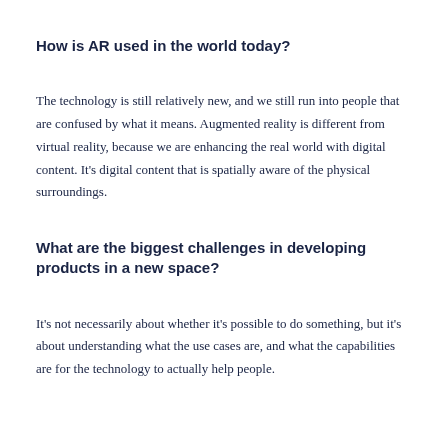How is AR used in the world today?
The technology is still relatively new, and we still run into people that are confused by what it means. Augmented reality is different from virtual reality, because we are enhancing the real world with digital content. It’s digital content that is spatially aware of the physical surroundings.
What are the biggest challenges in developing products in a new space?
It’s not necessarily about whether it’s possible to do something, but it’s about understanding what the use cases are, and what the capabilities are for the technology to actually help people.